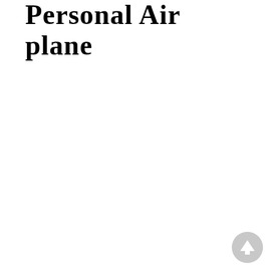Personal Air plane
[Figure (other): Scroll-to-top button: circular grey button with upward arrow icon, positioned bottom-right corner]